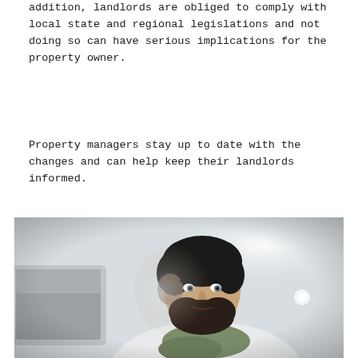addition, landlords are obliged to comply with local state and regional legislations and not doing so can have serious implications for the property owner.
Property managers stay up to date with the changes and can help keep their landlords informed.
[Figure (photo): A young bearded man with dark hair wearing a white shirt and a green scarf tied around his neck, looking intently at an Apple iMac computer screen. The background is bright and light-colored.]